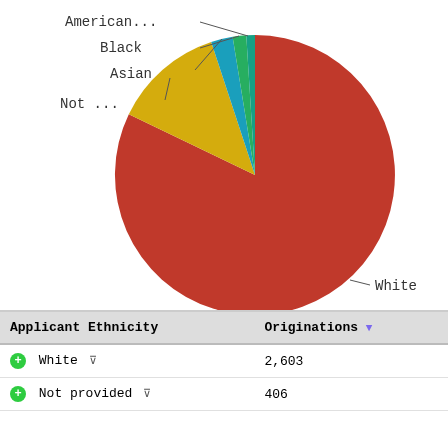[Figure (pie-chart): Applicant Ethnicity - Originations]
| Applicant Ethnicity | Originations▼ |
| --- | --- |
| White ▽ | 2,603 |
| Not provided ▽ | 406 |